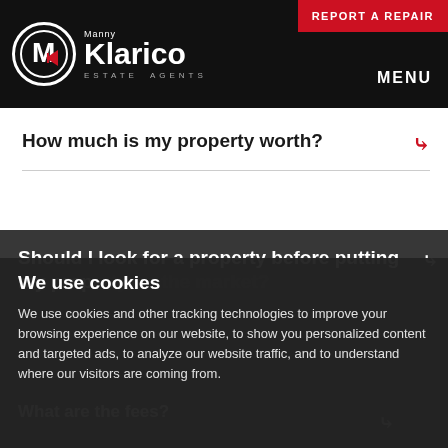Manny Klarico ESTATE AGENTS | REPORT A REPAIR | MENU
How much is my property worth?
Should I look for a property before putting my property on the market?
We use cookies
We use cookies and other tracking technologies to improve your browsing experience on our website, to show you personalized content and targeted ads, to analyze our website traffic, and to understand where our visitors are coming from.
What are the fees?